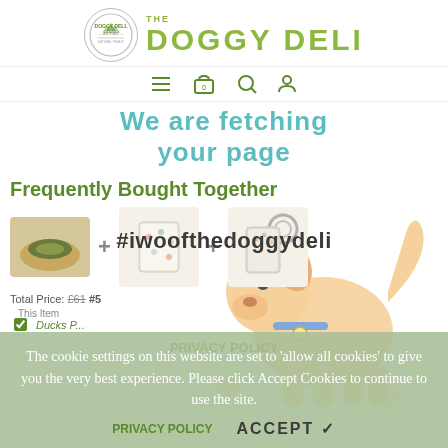[Figure (logo): The Doggy Deli logo: circular badge on left, large styled text 'THE DOGGY DELI' in green on right]
[Figure (screenshot): Navigation bar with hamburger menu, cart icon with 0, search icon, and user icon]
We are fetching your page
[Figure (illustration): Cartoon dog illustration in orange/tan tones, sitting/standing pose with curly tail]
Frequently Bought Together
[Figure (photo): Three product images: green/brown pet bed, patterned pet accessory bag, keyring accessory]
Total Price: £61 #5
#iwoofthedoggydeli
This Item
Ducks P...
PRIVACY POLICY
The cookie settings on this website are set to 'allow all cookies' to give you the very best experience. Please click Accept Cookies to continue to use the site.
ACCEPT ✓